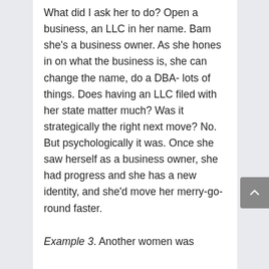What did I ask her to do? Open a business, an LLC in her name. Bam she's a business owner. As she hones in on what the business is, she can change the name, do a DBA- lots of things. Does having an LLC filed with her state matter much? Was it strategically the right next move? No. But psychologically it was. Once she saw herself as a business owner, she had progress and she has a new identity, and she'd move her merry-go-round faster.
Example 3. Another women was